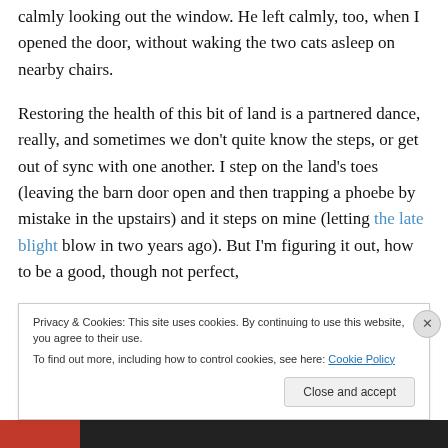calmly looking out the window. He left calmly, too, when I opened the door, without waking the two cats asleep on nearby chairs.
Restoring the health of this bit of land is a partnered dance, really, and sometimes we don't quite know the steps, or get out of sync with one another. I step on the land's toes (leaving the barn door open and then trapping a phoebe by mistake in the upstairs) and it steps on mine (letting the late blight blow in two years ago). But I'm figuring it out, how to be a good, though not perfect,
Privacy & Cookies: This site uses cookies. By continuing to use this website, you agree to their use.
To find out more, including how to control cookies, see here: Cookie Policy